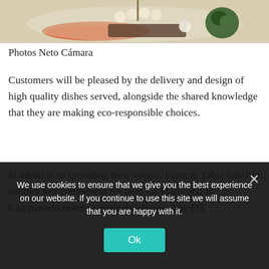[Figure (photo): Photo of plated gourmet food dishes on a white plate, including what appears to be scallops, vegetables, and sauces]
Photos Neto Cámara
Customers will be pleased by the delivery and design of high quality dishes served, alongside the shared knowledge that they are making eco-responsible choices.
In addition to spreading their values, Farm to Table satisfies another key component for both La Maria and El Campanario teams: sustainable living. The FtT
We use cookies to ensure that we give you the best experience on our website. If you continue to use this site we will assume that you are happy with it.